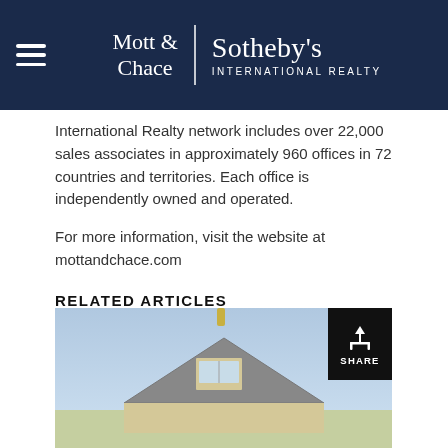Mott & Chace | Sotheby's International Realty
International Realty network includes over 22,000 sales associates in approximately 960 offices in 72 countries and territories. Each office is independently owned and operated.
For more information, visit the website at mottandchace.com
RELATED ARTICLES
[Figure (photo): Exterior photo of a house under a blue sky, with a dormer window visible at the roofline. A share button overlay appears in the top right corner of the image.]